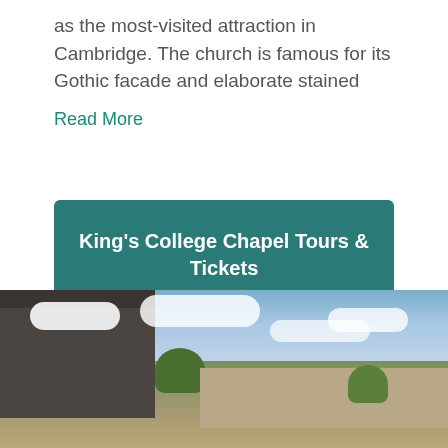as the most-visited attraction in Cambridge. The church is famous for its Gothic facade and elaborate stained
Read More
King's College Chapel Tours & Tickets
[Figure (photo): Aerial view of Cambridge showing Gothic architecture of King's College Chapel with towers on the left, rooftops of university buildings in the center and right, green trees, and a partly cloudy blue sky above.]